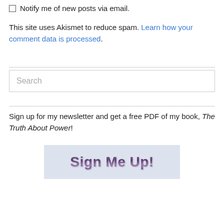Notify me of new posts via email.
This site uses Akismet to reduce spam. Learn how your comment data is processed.
Search
Sign up for my newsletter and get a free PDF of my book, The Truth About Power!
[Figure (other): Sign Me Up! button with blue-grey background and purple 3D text]